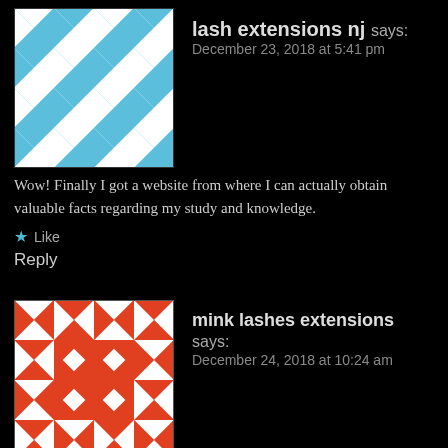[Figure (illustration): Blue and white geometric quilt-pattern avatar for lash extensions nj]
lash extensions nj says:
December 23, 2018 at 5:41 pm
Wow! Finally I got a website from where I can actually obtain valuable facts regarding my study and knowledge.
★ Like
Reply
[Figure (illustration): Red and white geometric quilt-pattern avatar for mink lashes extensions]
mink lashes extensions says:
December 24, 2018 at 10:24 am
I think the admin of this web page is truly working hard in support of his web page, because here every material is quality based material.
★ Like
Reply